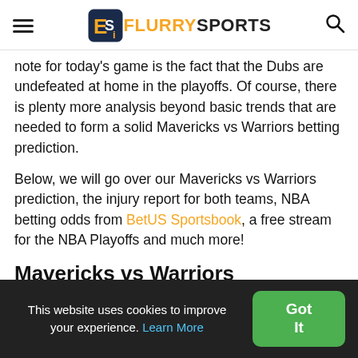FlurrySports
note for today's game is the fact that the Dubs are undefeated at home in the playoffs. Of course, there is plenty more analysis beyond basic trends that are needed to form a solid Mavericks vs Warriors betting prediction.
Below, we will go over our Mavericks vs Warriors prediction, the injury report for both teams, NBA betting odds from BetUS Sportsbook, a free stream for the NBA Playoffs and much more!
Mavericks vs Warriors
This website uses cookies to improve your experience. Learn More